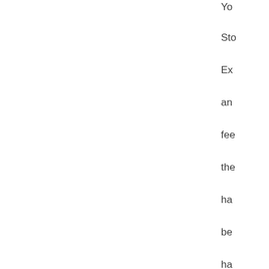Yo
Sto
Ex
an
fe
the
ha
be
ha
by
No
ac
an
co
yo
ma
be
en